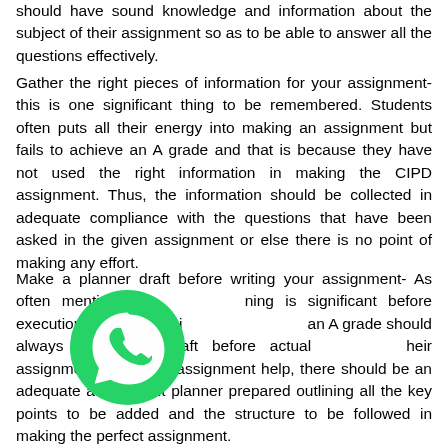should have sound knowledge and information about the subject of their assignment so as to be able to answer all the questions effectively.
Gather the right pieces of information for your assignment- this is one significant thing to be remembered. Students often puts all their energy into making an assignment but fails to achieve an A grade and that is because they have not used the right information in making the CIPD assignment. Thus, the information should be collected in adequate compliance with the questions that have been asked in the given assignment or else there is no point of making any effort.
[Figure (logo): WhatsApp green circular logo icon]
Make a planner draft before writing your assignment- As often mentioned, planning is significant before execution, students aiming an A grade should always prepare a draft before actually their assignment. For CIPD assignment help, there should be an adequate assignment planner prepared outlining all the key points to be added and the structure to be followed in making the perfect assignment.